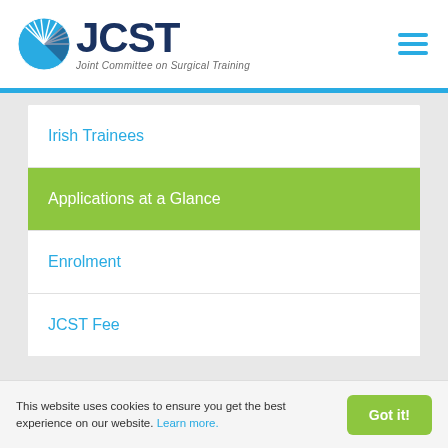[Figure (logo): JCST logo with circular blue graphic and text 'JCST Joint Committee on Surgical Training']
Irish Trainees
Applications at a Glance
Enrolment
JCST Fee
This website uses cookies to ensure you get the best experience on our website. Learn more.